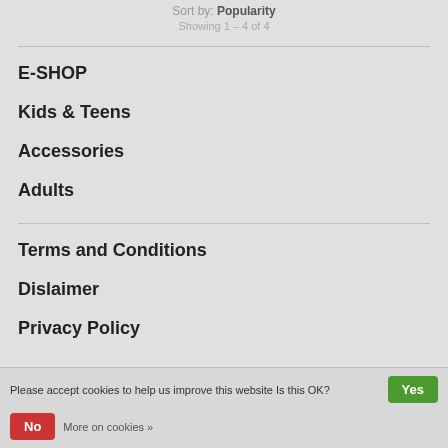Sort by: Popularity
Showing 1 - 4 of 4
E-SHOP
Kids & Teens
Accessories
Adults
Terms and Conditions
Dislaimer
Privacy Policy
Please accept cookies to help us improve this website Is this OK?
Yes
No
More on cookies »